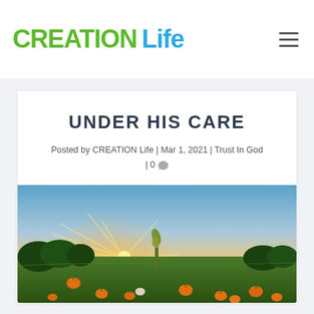CREATION Life
UNDER HIS CARE
Posted by CREATION Life | Mar 1, 2021 | Trust In God | 0 💬
[Figure (photo): Sunset over a pumpkin field with a corn stalk silhouette in the center and orange pumpkins scattered across green grass, golden rays of light bursting from the horizon.]